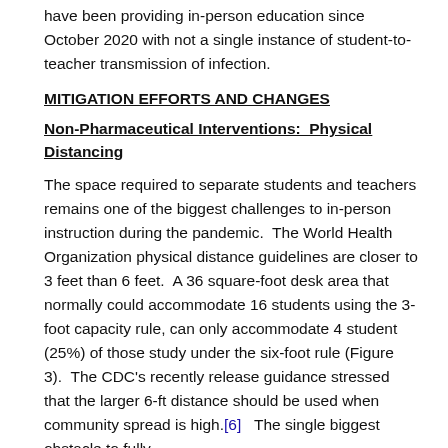have been providing in-person education since October 2020 with not a single instance of student-to-teacher transmission of infection.
MITIGATION EFFORTS AND CHANGES
Non-Pharmaceutical Interventions:  Physical Distancing
The space required to separate students and teachers remains one of the biggest challenges to in-person instruction during the pandemic.  The World Health Organization physical distance guidelines are closer to 3 feet than 6 feet.  A 36 square-foot desk area that normally could accommodate 16 students using the 3-foot capacity rule, can only accommodate 4 student (25%) of those study under the six-foot rule (Figure 3).  The CDC's recently release guidance stressed that the larger 6-ft distance should be used when  community spread is high.[6]   The single biggest obstacle to fully